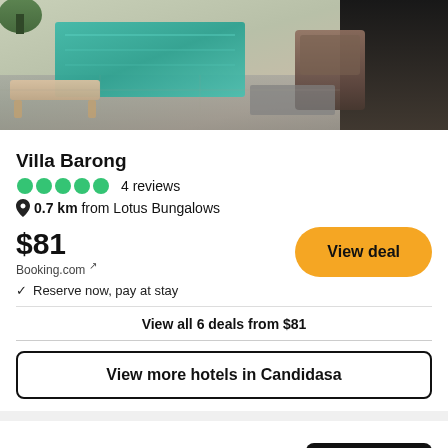[Figure (photo): Hotel pool area with lounge furniture, stone surfaces, and outdoor seating]
Villa Barong
●●●●● 4 reviews
📍 0.7 km from Lotus Bungalows
$81
Booking.com ↗
✓ Reserve now, pay at stay
View all 6 deals from $81
View more hotels in Candidasa
Reviews (183)
Expedia.com ↗   $51
View deal